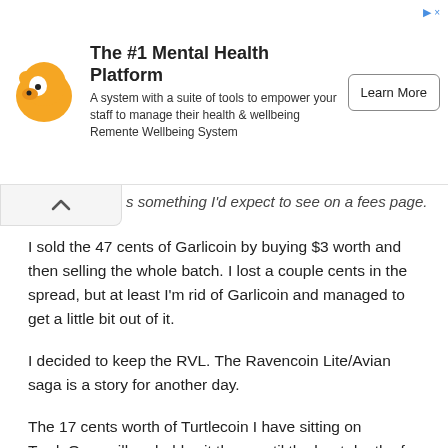[Figure (other): Advertisement banner for 'The #1 Mental Health Platform' by Remente Wellbeing System, with a yellow bear-like mascot icon and a 'Learn More' button.]
s something I'd expect to see on a fees page.
I sold the 47 cents of Garlicoin by buying $3 worth and then selling the whole batch. I lost a couple cents in the spread, but at least I'm rid of Garlicoin and managed to get a little bit out of it.
I decided to keep the RVL. The Ravencoin Lite/Avian saga is a story for another day.
The 17 cents worth of Turtlecoin I have sitting on TradeOgre will probably sit there until the heat death of the universe. TRTL's bizarre setup where you have to pick a node to send through  with each node having varying fees is quite odd, and a dangerous trap for those who aren't paying attention